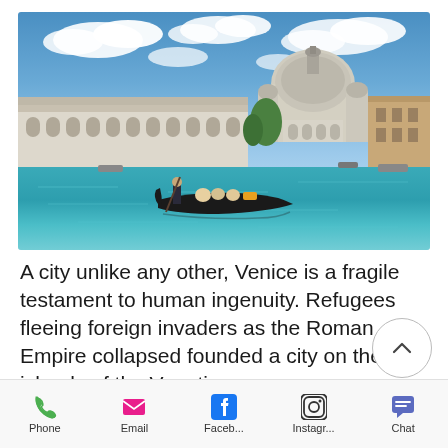[Figure (photo): Photograph of Venice, Italy showing the Santa Maria della Salute basilica along the Grand Canal with a gondola in the foreground on turquoise water under a blue sky with white clouds.]
A city unlike any other, Venice is a fragile testament to human ingenuity. Refugees fleeing foreign invaders as the Roman Empire collapsed founded a city on the islands of the Venetian
Phone  Email  Faceb...  Instagr...  Chat